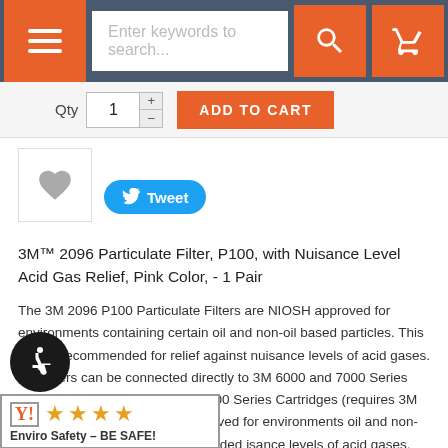Navigation bar with menu, search box, and cart icons
Qty 1 ADD TO CART
[Figure (infographic): Wishlist heart icon box and Tweet button]
3M™ 2096 Particulate Filter, P100, with Nuisance Level Acid Gas Relief, Pink Color, - 1 Pair
The 3M 2096 P100 Particulate Filters are NIOSH approved for environments containing certain oil and non-oil based particles. This filter is recommended for relief against nuisance levels of acid gases. The filters can be connected directly to 3M 6000 and 7000 Series rators or can be used with 3M 6000 Series Cartridges (requires 3M 502 Filter Adapter). NIOSH approved for environments oil and non-oil based particles. 3M recommended isance levels of acid gases.
[Figure (logo): Accessibility wheelchair icon badge and Enviro Safety BE SAFE rating badge with 4 orange stars]